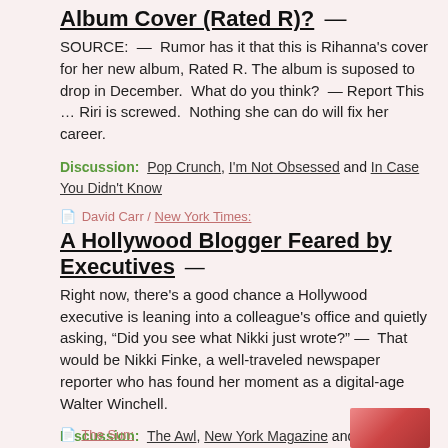Album Cover (Rated R)? — SOURCE: — Rumor has it that this is Rihanna's cover for her new album, Rated R. The album is suposed to drop in December. What do you think? — Report This … Riri is screwed. Nothing she can do will fix her career.
Discussion: Pop Crunch, I'm Not Obsessed and In Case You Didn't Know
David Carr / New York Times:
A Hollywood Blogger Feared by Executives — Right now, there's a good chance a Hollywood executive is leaning into a colleague's office and quietly asking, "Did you see what Nikki just wrote?" — That would be Nikki Finke, a well-traveled newspaper reporter who has found her moment as a digital-age Walter Winchell.
Discussion: The Awl, New York Magazine and Nikki Finke's Deadline …
The Sun: